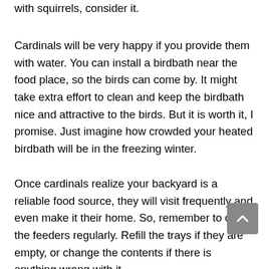with squirrels, consider it.
Cardinals will be very happy if you provide them with water. You can install a birdbath near the food place, so the birds can come by. It might take extra effort to clean and keep the birdbath nice and attractive to the birds. But it is worth it, I promise. Just imagine how crowded your heated birdbath will be in the freezing winter.
Once cardinals realize your backyard is a reliable food source, they will visit frequently and even make it their home. So, remember to check the feeders regularly. Refill the trays if they are empty, or change the contents if there is anything wrong with it.